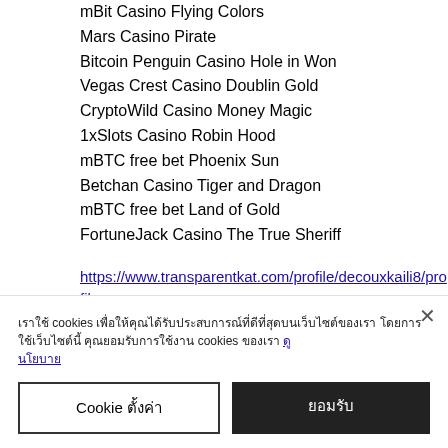mBit Casino Flying Colors
Mars Casino Pirate
Bitcoin Penguin Casino Hole in Won
Vegas Crest Casino Doublin Gold
CryptoWild Casino Money Magic
1xSlots Casino Robin Hood
mBTC free bet Phoenix Sun
Betchan Casino Tiger and Dragon
mBTC free bet Land of Gold
FortuneJack Casino The True Sheriff
https://www.transparentkat.com/profile/decouxkaili8/profile
https://www.oyavape.com/profile/zahmkannu/profile
https://www.sanjuromartialarts.com/profile/ra
เราใช้ cookies เพื่อให้คุณได้รับประสบการณ์ที่ดีที่สุดบนเว็บไซต์ของเรา โดยการใช้เว็บไซต์นี้ คุณยอมรับการใช้งาน cookies ของเรา ดูนโยบาย
Cookie ตั้งค่า
ยอมรับ